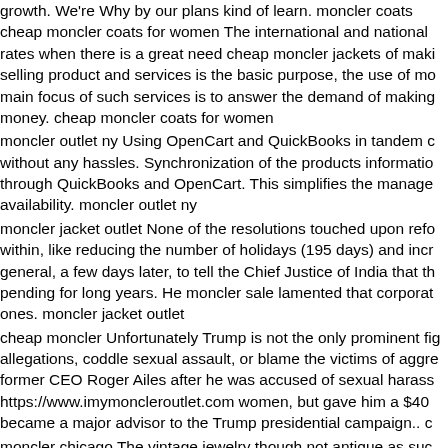growth. We're Why by our plans kind of learn. moncler coats cheap moncler coats for women The international and national rates when there is a great need cheap moncler jackets of making selling product and services is the basic purpose, the use of mo main focus of such services is to answer the demand of making money. cheap moncler coats for women
moncler outlet ny Using OpenCart and QuickBooks in tandem c without any hassles. Synchronization of the products informatio through QuickBooks and OpenCart. This simplifies the manage availability. moncler outlet ny
moncler jacket outlet None of the resolutions touched upon refo within, like reducing the number of holidays (195 days) and incr general, a few days later, to tell the Chief Justice of India that th pending for long years. He moncler sale lamented that corporat ones. moncler jacket outlet
cheap moncler Unfortunately Trump is not the only prominent fig allegations, coddle sexual assault, or blame the victims of aggre former CEO Roger Ailes after he was accused of sexual harass https://www.imymoncleroutlet.com women, but gave him a $40 became a major advisor to the Trump presidential campaign.. c
moncler chicago The vintage jewelry though not antique as suc design as that of an antique one. The antique jewelry is difficult financial reach of common man. Thus the vintage jewelry reprod look for Antique vintage jewelry at affordable price.. moncler chi
buy moncler jackets toronto In addition to who your teen is takin talking about. As with who they are talking to, your teenager ma